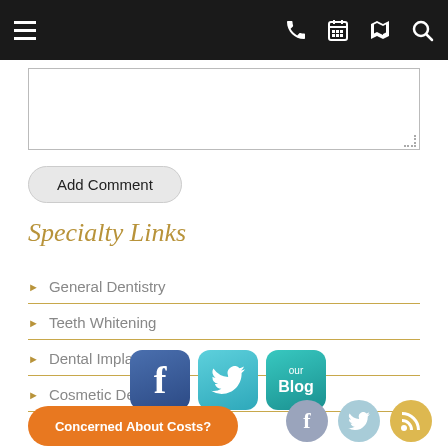Navigation bar with hamburger menu, phone, calendar, map, search icons
[textarea / comment input box]
Add Comment
Specialty Links
General Dentistry
Teeth Whitening
Dental Implants
Cosmetic Dentistry
[Figure (infographic): Social media icons: Facebook (blue rounded square with f), Twitter (cyan rounded square with bird), Our Blog (teal rounded square)]
[Figure (infographic): Small social circles: Facebook (gray), Twitter (light blue), RSS (yellow/gold)]
Concerned About Costs?